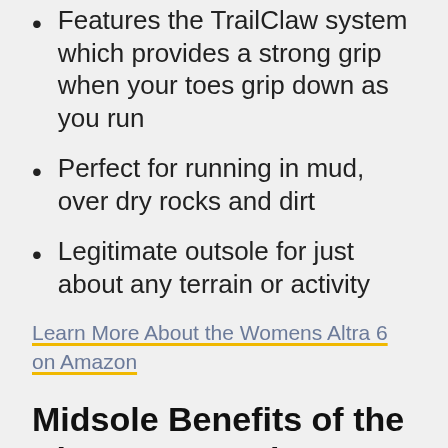Features the TrailClaw system which provides a strong grip when your toes grip down as you run
Perfect for running in mud, over dry rocks and dirt
Legitimate outsole for just about any terrain or activity
Learn More About the Womens Altra 6 on Amazon
Midsole Benefits of the Altra Lone Peak 6